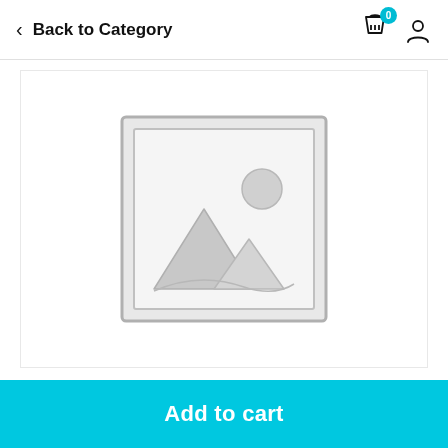Back to Category
[Figure (illustration): Placeholder product image with a mountain landscape icon inside a grey bordered frame]
Add to cart